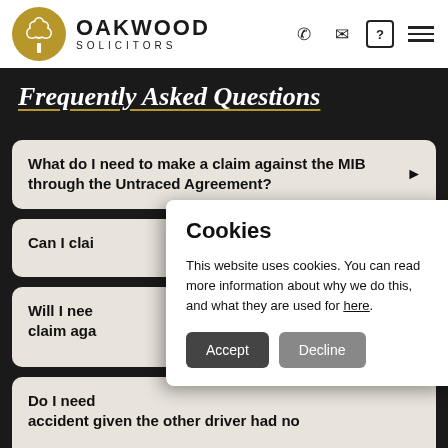Oakwood Solicitors
Frequently Asked Questions
What do I need to make a claim against the MIB through the Untraced Agreement?
Can I clai...
Will I need... claim aga...
Do I need... accident given the other driver had no
Cookies
This website uses cookies. You can read more information about why we do this, and what they are used for here.